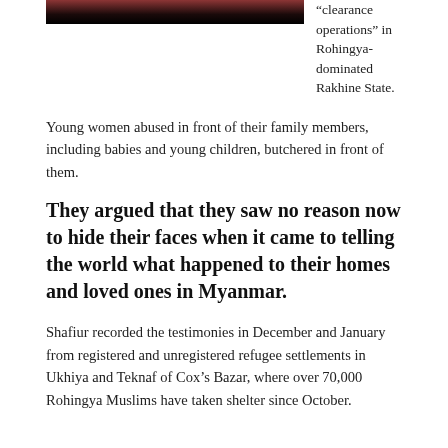[Figure (photo): Cropped photo at top of page showing partial image of people, mostly dark/black tones]
“clearance operations” in Rohingya-dominated Rakhine State.
Young women abused in front of their family members, including babies and young children, butchered in front of them.
They argued that they saw no reason now to hide their faces when it came to telling the world what happened to their homes and loved ones in Myanmar.
Shafiur recorded the testimonies in December and January from registered and unregistered refugee settlements in Ukhiya and Teknaf of Cox’s Bazar, where over 70,000 Rohingya Muslims have taken shelter since October.
In a 9:53-minute video, the women disclose to the world the horrendous stories which Shafiur later uploaded in an online platform.
In early January 2017, the Aung San Suu Kyi-led government surprisingly took action against soldiers who had been depicted on video beating up members of a Rohingya family. An investigation was announced regarding the specific...